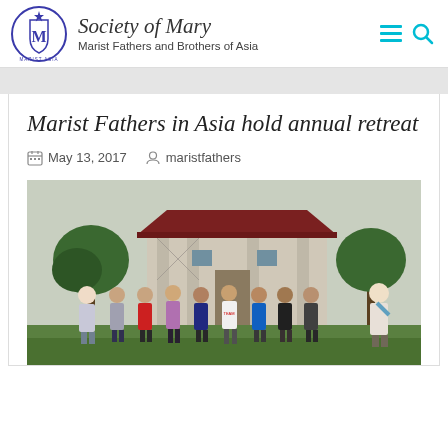Society of Mary — Marist Fathers and Brothers of Asia
Marist Fathers in Asia hold annual retreat
May 13, 2017   maristfathers
[Figure (photo): Group of approximately ten men standing outdoors in front of a building with pillars and a red roof, surrounded by green trees. They appear to be posing for a group photo on a lawn.]